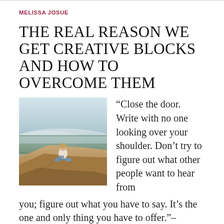MELISSA JOSUE
THE REAL REASON WE GET CREATIVE BLOCKS AND HOW TO OVERCOME THEM
[Figure (photo): Person sitting on a rocky cliff edge overlooking a misty forested valley below.]
“Close the door. Write with no one looking over your shoulder. Don’t try to figure out what other people want to hear from you; figure out what you have to say. It’s the one and only thing you have to offer.”–